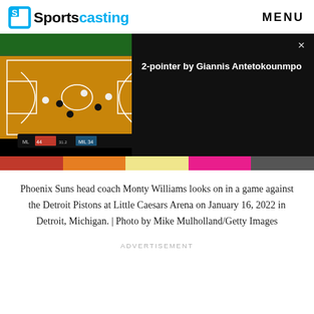Sportscasting | MENU
[Figure (screenshot): Basketball court video screenshot with overlay showing '2-pointer by Giannis Antetokounmpo' text on dark background with close button]
[Figure (photo): Thumbnail strip of sports photos]
Phoenix Suns head coach Monty Williams looks on in a game against the Detroit Pistons at Little Caesars Arena on January 16, 2022 in Detroit, Michigan. | Photo by Mike Mulholland/Getty Images
ADVERTISEMENT